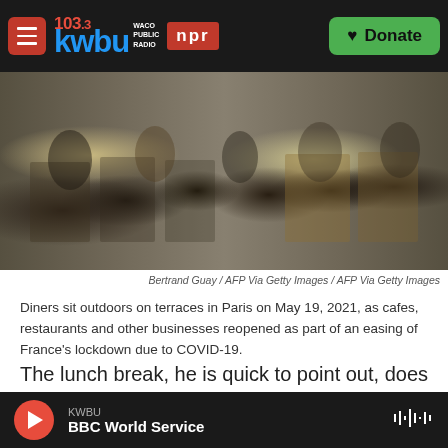103.3 KWBU WACO PUBLIC RADIO / NPR — Donate
[Figure (photo): Diners sitting at outdoor cafe terraces in Paris, rows of people at tables with chairs, urban street setting, overcast day]
Bertrand Guay / AFP Via Getty Images / AFP Via Getty Images
Diners sit outdoors on terraces in Paris on May 19, 2021, as cafes, restaurants and other businesses reopened as part of an easing of France's lockdown due to COVID-19.
The lunch break, he is quick to point out, does lead to better health outcomes. It does make workers more productive. But, he argues, there's a bigger
KWBU — BBC World Service